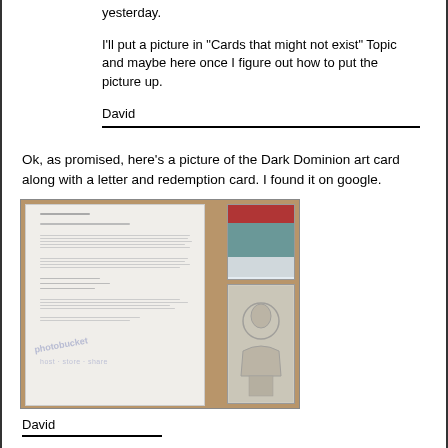yesterday.
I'll put a picture in "Cards that might not exist" Topic and maybe here once I figure out how to put the picture up.
David
Ok, as promised, here's a picture of the Dark Dominion art card along with a letter and redemption card. I found it on google.
[Figure (photo): Photo of a Dark Dominion letter and redemption card on a wooden table, with a photobucket watermark]
David